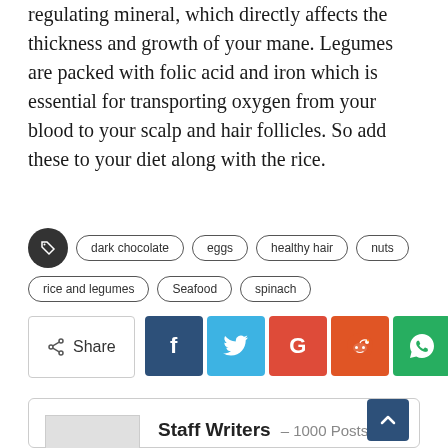regulating mineral, which directly affects the thickness and growth of your mane. Legumes are packed with folic acid and iron which is essential for transporting oxygen from your blood to your scalp and hair follicles. So add these to your diet along with the rice.
dark chocolate
eggs
healthy hair
nuts
rice and legumes
Seafood
spinach
[Figure (infographic): Social share buttons: Share, Facebook (f), Twitter (bird), Google (G), Reddit (alien), WhatsApp (phone), and a plus button]
Staff Writers – 1000 Posts